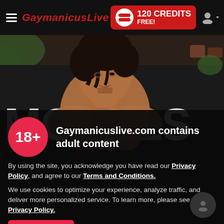GaymanicusLive — 120 CREDITS FREE!
[Figure (photo): Shirtless young man outdoors with dark hair, in front of a dark wall with large white text reading MODELS in the background]
Gaymanicuslive.com contains adult content
By using the site, you acknowledge you have read our Privacy Policy, and agree to our Terms and Conditions.
We use cookies to optimize your experience, analyze traffic, and deliver more personalized service. To learn more, please see our Privacy Policy.
I AGREE